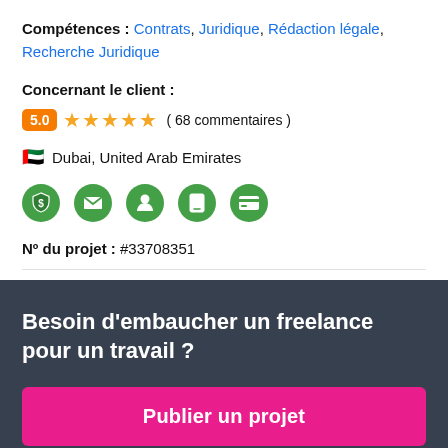Compétences : Contrats, Juridique, Rédaction légale, Recherche Juridique
Concernant le client :
5.0 ★★★★★( 68 commentaires )
🇦🇪 Dubai, United Arab Emirates
[Figure (infographic): Row of 5 green circular icons: dollar/shield, envelope, person, phone, credit card]
Nº du projet : #33708351
Besoin d'embaucher un freelance pour un travail ?
Publier un projet